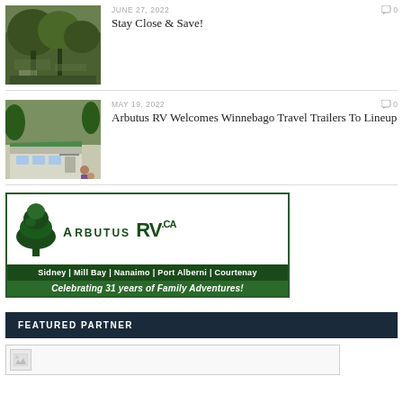[Figure (photo): Outdoor forest/campground scene with trees and tables]
JUNE 27, 2022
0
Stay Close & Save!
[Figure (photo): Woman and child standing next to a Winnebago travel trailer RV outdoors]
MAY 19, 2022
0
Arbutus RV Welcomes Winnebago Travel Trailers To Lineup
[Figure (logo): Arbutus RV.ca logo banner with tree graphic. Sidney | Mill Bay | Nanaimo | Port Alberni | Courtenay. Celebrating 31 years of Family Adventures!]
FEATURED PARTNER
[Figure (photo): Featured partner image placeholder (broken image icon)]